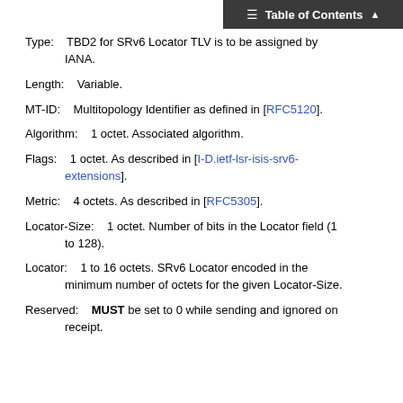Table of Contents
Type:    TBD2 for SRv6 Locator TLV is to be assigned by IANA.
Length:   Variable.
MT-ID:    Multitopology Identifier as defined in [RFC5120].
Algorithm:   1 octet. Associated algorithm.
Flags:    1 octet. As described in [I-D.ietf-lsr-isis-srv6-extensions].
Metric:   4 octets. As described in [RFC5305].
Locator-Size:    1 octet. Number of bits in the Locator field (1 to 128).
Locator:   1 to 16 octets. SRv6 Locator encoded in the minimum number of octets for the given Locator-Size.
Reserved:   MUST be set to 0 while sending and ignored on receipt.